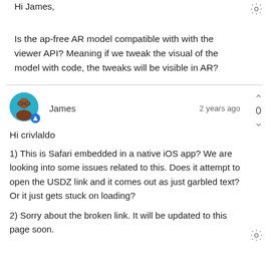Hi James,
Is the ap-free AR model compatible with with the viewer API? Meaning if we tweak the visual of the model with code, the tweaks will be visible in AR?
James    2 years ago
Hi crivlaldo
1) This is Safari embedded in a native iOS app? We are looking into some issues related to this. Does it attempt to open the USDZ link and it comes out as just garbled text? Or it just gets stuck on loading?
2) Sorry about the broken link. It will be updated to this page soon.